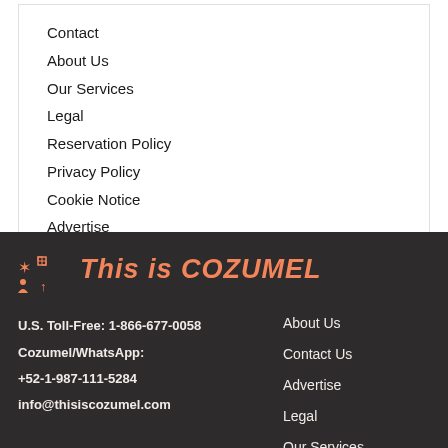Contact
About Us
Our Services
Legal
Reservation Policy
Privacy Policy
Cookie Notice
Advertise
[Figure (logo): This is Cozumel logo with icons and stylized text]
U.S. Toll-Free: 1-866-677-0058
Cozumel/WhatsApp:
+52-1-987-111-5284
info@thisiscozumel.com
About Us
Contact Us
Advertise
Legal
Our Services